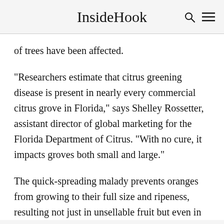InsideHook
of trees have been affected.
“Researchers estimate that citrus greening disease is present in nearly every commercial citrus grove in Florida,” says Shelley Rossetter, assistant director of global marketing for the Florida Department of Citrus. “With no cure, it impacts groves both small and large.”
The quick-spreading malady prevents oranges from growing to their full size and ripeness, resulting not just in unsellable fruit but even in